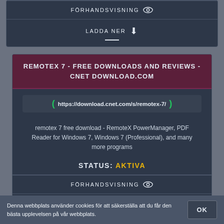FÖRHANDSVISNING
LADDA NER
REMOTEX 7 - FREE DOWNLOADS AND REVIEWS - CNET DOWNLOAD.COM
https://download.cnet.com/s/remotex-7/
remotex 7 free download - RemoteX PowerManager, PDF Reader for Windows 7, Windows 7 (Professional), and many more programs
STATUS: AKTIVA
FÖRHANDSVISNING
LADDA NER
Denna webbplats använder cookies för att säkerställa att du får den bästa upplevelsen på vår webbplats.